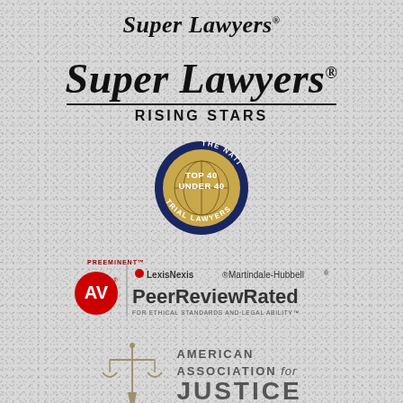[Figure (logo): Super Lawyers logo - small version at top]
[Figure (logo): Super Lawyers Rising Stars logo - large version with divider line and RISING STARS text]
[Figure (logo): The National Trial Lawyers Top 40 Under 40 circular badge with navy blue border, gold center with globe, white text]
[Figure (logo): AV Preeminent LexisNexis Martindale-Hubbell Peer Review Rated for Ethical Standards and Legal Ability logo]
[Figure (logo): American Association for Justice logo with scales of justice icon and text]